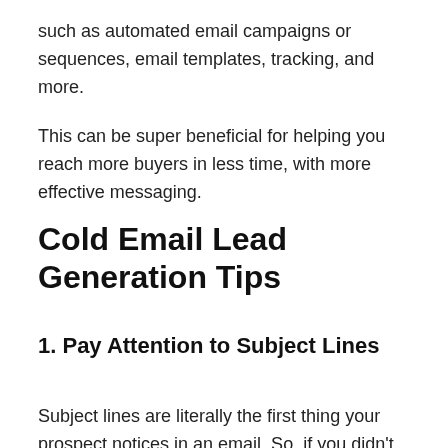such as automated email campaigns or sequences, email templates, tracking, and more.
This can be super beneficial for helping you reach more buyers in less time, with more effective messaging.
Cold Email Lead Generation Tips
1. Pay Attention to Subject Lines
Subject lines are literally the first thing your prospect notices in an email. So, if you didn't take the time to